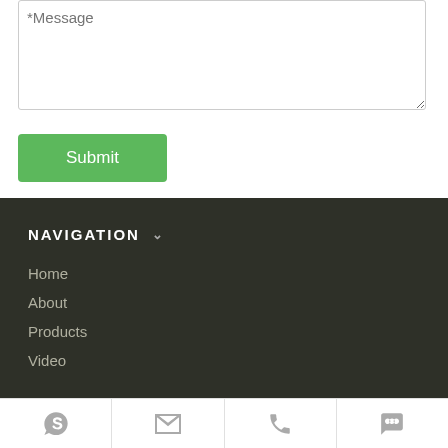*Message
Submit
NAVIGATION
Home
About
Products
Video
[Figure (infographic): Bottom icon bar with four icons: Skype, email/envelope, phone, and chat bubble]